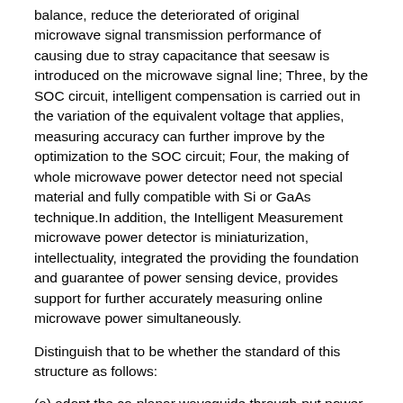balance, reduce the deteriorated of original microwave signal transmission performance of causing due to stray capacitance that seesaw is introduced on the microwave signal line; Three, by the SOC circuit, intelligent compensation is carried out in the variation of the equivalent voltage that applies, measuring accuracy can further improve by the optimization to the SOC circuit; Four, the making of whole microwave power detector need not special material and fully compatible with Si or GaAs technique.In addition, the Intelligent Measurement microwave power detector is miniaturization, intellectuality, integrated the providing the foundation and guarantee of power sensing device, provides support for further accurately measuring online microwave power simultaneously.
Distinguish that to be whether the standard of this structure as follows:
(a) adopt the co-planar waveguide through-put power,
(b) be placed on co-planar waveguide top by moving seesaw-type both-end semi-girder,